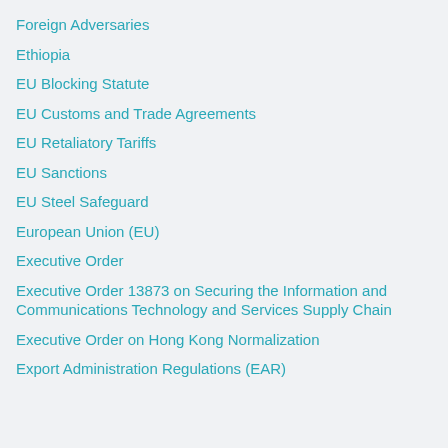Foreign Adversaries
Ethiopia
EU Blocking Statute
EU Customs and Trade Agreements
EU Retaliatory Tariffs
EU Sanctions
EU Steel Safeguard
European Union (EU)
Executive Order
Executive Order 13873 on Securing the Information and Communications Technology and Services Supply Chain
Executive Order on Hong Kong Normalization
Export Administration Regulations (EAR)